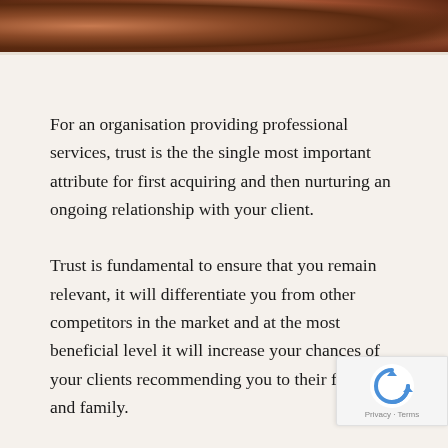[Figure (photo): Partial photo strip at top of page showing people, cropped, with warm brown tones]
For an organisation providing professional services, trust is the the single most important attribute for first acquiring and then nurturing an ongoing relationship with your client.
Trust is fundamental to ensure that you remain relevant, it will differentiate you from other competitors in the market and at the most beneficial level it will increase your chances of your clients recommending you to their friends and family.
Trust can also act as a repulser of welcomed...